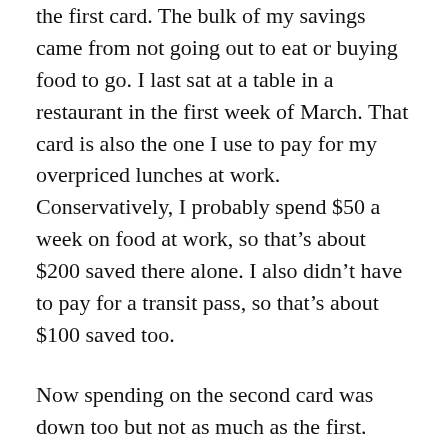the first card. The bulk of my savings came from not going out to eat or buying food to go. I last sat at a table in a restaurant in the first week of March. That card is also the one I use to pay for my overpriced lunches at work. Conservatively, I probably spend $50 a week on food at work, so that's about $200 saved there alone. I also didn't have to pay for a transit pass, so that's about $100 saved too.
Now spending on the second card was down too but not as much as the first. There's a few reasons for that. First, my grocery bills went up compared to a regular month, so that offset some of the savings. Still, I came out ahead. It's not out of the ordinary for me to spend $50 at dinner sometimes, whereas $50 at Safeway this month allows me to eat almost the entire week. It's a shame it took a global pandemic to show me the stark reality of the math but it's true. You save so much money by eating at